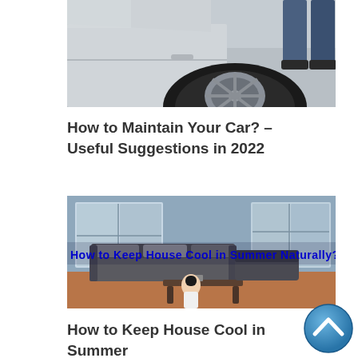[Figure (photo): Photo of a white car with tire visible and mechanic's legs in background]
How to Maintain Your Car? – Useful Suggestions in 2022
[Figure (photo): Interior living room photo with sofas and large windows; text overlay reads 'How to Keep House Cool in Summer Naturally?' in bold blue letters; woman in foreground]
How to Keep House Cool in Summer